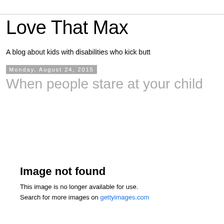Love That Max
A blog about kids with disabilities who kick butt
Monday, August 24, 2015
When people stare at your child
[Figure (other): Image not found placeholder with text: 'Image not found. This image is no longer available for use. Search for more images on gettyimages.com']